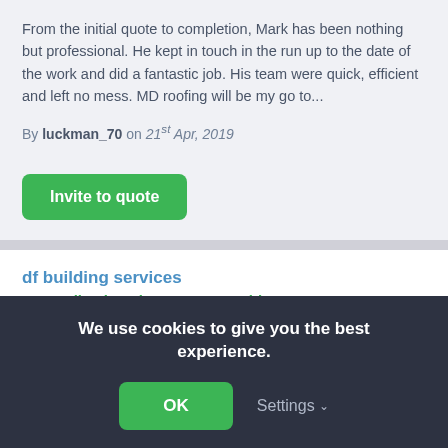From the initial quote to completion, Mark has been nothing but professional. He kept in touch in the run up to the date of the work and did a fantastic job. His team were quick, efficient and left no mess. MD roofing will be my go to...
By luckman_70 on 21st Apr, 2019
Invite to quote
df building services
16 Feedback reviews, 100% positive
Tradesman working in Rugeley
We use cookies to give you the best experience.
OK
Settings